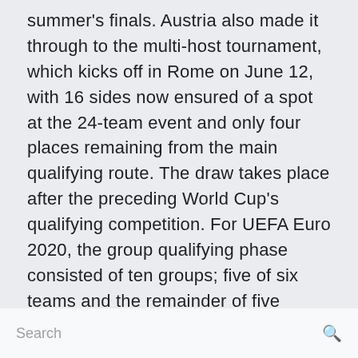summer's finals. Austria also made it through to the multi-host tournament, which kicks off in Rome on June 12, with 16 sides now ensured of a spot at the 24-team event and only four places remaining from the main qualifying route. The draw takes place after the preceding World Cup's qualifying competition. For UEFA Euro 2020, the group qualifying phase consisted of ten groups; five of six teams and the remainder of five teams each.
Search